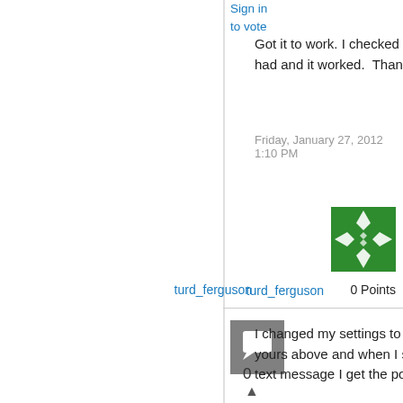Sign in
to vote
Got it to work. I checked all the boxes you had and it worked.  Thanks.
Friday, January 27, 2012 1:10 PM
[Figure (illustration): Green decorative user avatar icon with star/compass pattern]
turd_ferguson
0 Points
[Figure (illustration): Gray square comment/reply avatar placeholder icon with speech bubble symbol]
▲
0
Sign in
to vote
I changed my settings to duplicate yours above and when I send a plain text message I get the pop-up